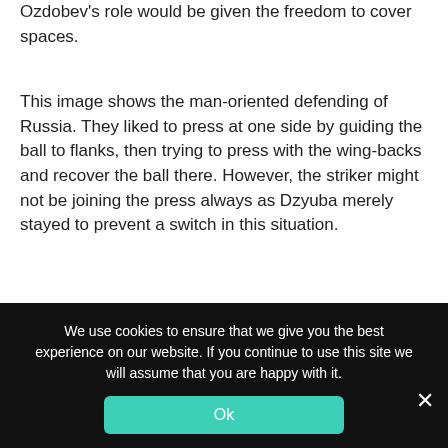Ozdobev's role would be given the freedom to cover spaces.
This image shows the man-oriented defending of Russia. They liked to press at one side by guiding the ball to flanks, then trying to press with the wing-backs and recover the ball there. However, the striker might not be joining the press always as Dzyuba merely stayed to prevent a switch in this situation.
[Figure (illustration): A tactical football pitch diagram showing a green pitch with white markings. There are red and white player dots positioned on the right side of the pitch near a yellow circle highlight. A label reads 'Vertonghen' in the center area.]
We use cookies to ensure that we give you the best experience on our website. If you continue to use this site we will assume that you are happy with it.